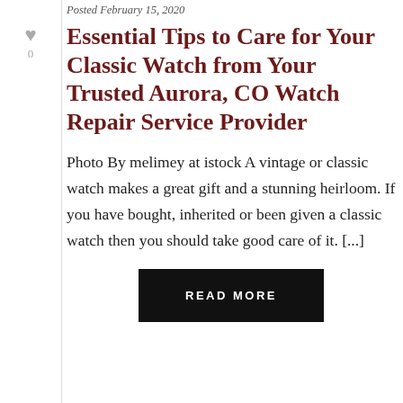Posted February 15, 2020
Essential Tips to Care for Your Classic Watch from Your Trusted Aurora, CO Watch Repair Service Provider
Photo By melimey at istock A vintage or classic watch makes a great gift and a stunning heirloom. If you have bought, inherited or been given a classic watch then you should take good care of it. [...]
READ MORE